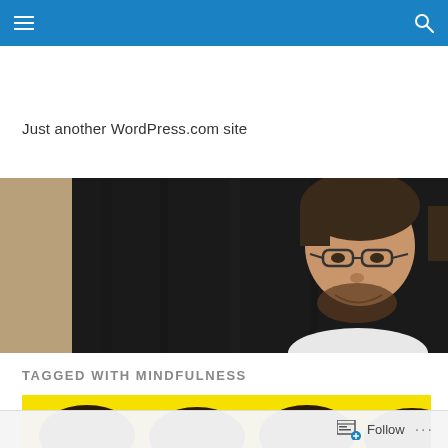Navigation bar with hamburger menu and search icon
Just another WordPress.com site
[Figure (photo): A man with glasses and beard smiling, against a dark curtain background. There is a beige/tan board on the left side of the image.]
TAGGED WITH MINDFULNESS
[Figure (photo): Yellow background with illustrated cartoon heads resembling The Beatles (four figures with mop-top hairstyles).]
Follow ...